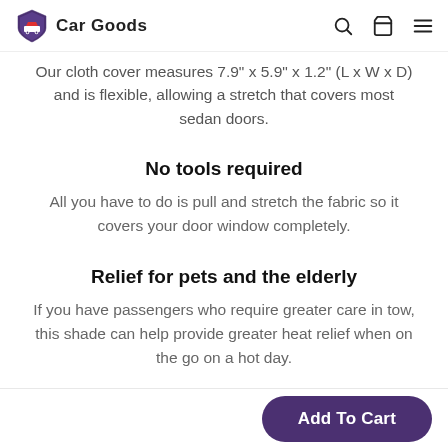Car Goods
Our cloth cover measures 7.9" x 5.9" x 1.2" (L x W x D) and is flexible, allowing a stretch that covers most sedan doors.
No tools required
All you have to do is pull and stretch the fabric so it covers your door window completely.
Relief for pets and the elderly
If you have passengers who require greater care in tow, this shade can help provide greater heat relief when on the go on a hot day.
Add To Cart